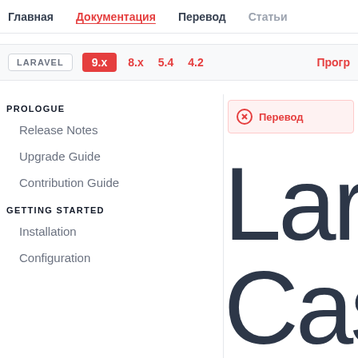Главная  Документация  Перевод  Статьи
LARAVEL  9.x  8.x  5.4  4.2  Прогр
PROLOGUE
Release Notes
Upgrade Guide
Contribution Guide
GETTING STARTED
Installation
Configuration
Перевод
[Figure (logo): Laravel large text logo showing 'Lar' and 'Cas' in thin weight typography]